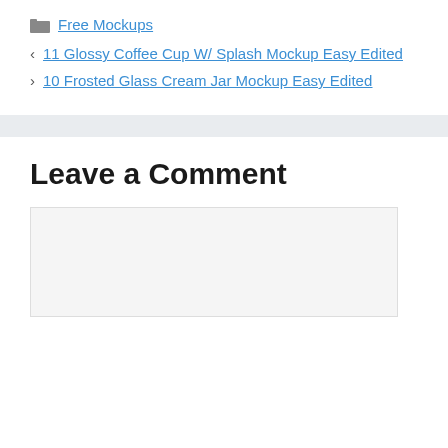Free Mockups
11 Glossy Coffee Cup W/ Splash Mockup Easy Edited
10 Frosted Glass Cream Jar Mockup Easy Edited
Leave a Comment